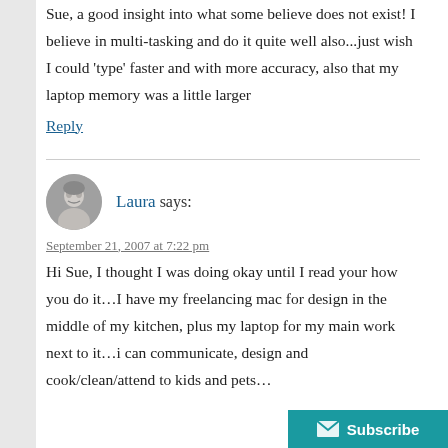Sue, a good insight into what some believe does not exist! I believe in multi-tasking and do it quite well also…just wish I could 'type' faster and with more accuracy, also that my laptop memory was a little larger
Reply
[Figure (photo): Circular avatar/profile photo of commenter Laura, grayscale face portrait]
Laura says:
September 21, 2007 at 7:22 pm
Hi Sue, I thought I was doing okay until I read your how you do it…I have my freelancing mac for design in the middle of my kitchen, plus my laptop for my main work next to it…i can communicate, design and cook/clean/attend to kids and pets…